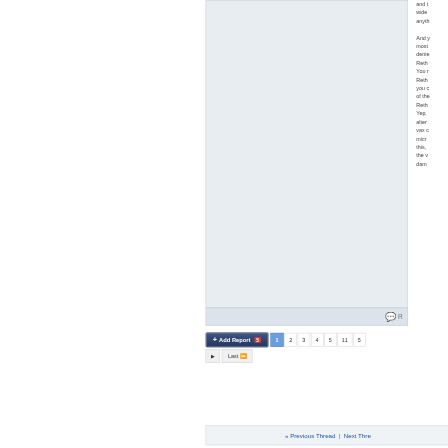[Figure (screenshot): Forum post content area with light blue-gray background, partially visible on left side of page]
and wide anyth And y most denie Reth You r Reth you c of the Reth Yep, alter vax c micr this, the v damn
[Figure (screenshot): Pagination bar with '+ Add Report' dark blue button and page numbers 1 (active/highlighted in blue), 2, 3, 4, 5, 11, 5, with next arrow and Last>> button]
« Previous Thread | Next Thre...